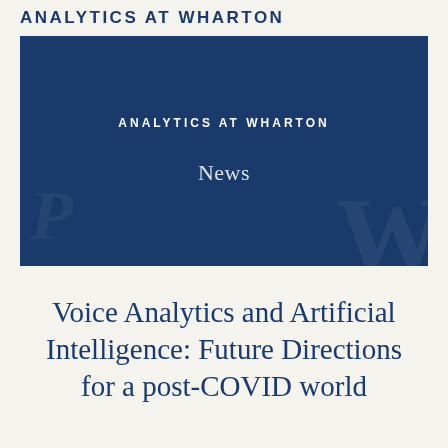ANALYTICS AT WHARTON
[Figure (illustration): Blue banner with Analytics at Wharton heading and News subheading, dark blue background with faint Wharton logo watermark]
Voice Analytics and Artificial Intelligence: Future Directions for a post-COVID world